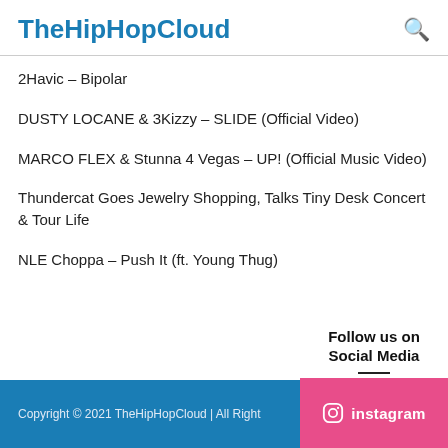TheHipHopCloud
2Havic – Bipolar
DUSTY LOCANE & 3Kizzy – SLIDE (Official Video)
MARCO FLEX & Stunna 4 Vegas – UP! (Official Music Video)
Thundercat Goes Jewelry Shopping, Talks Tiny Desk Concert & Tour Life
NLE Choppa – Push It (ft. Young Thug)
Follow us on Social Media
Copyright © 2021 TheHipHopCloud | All Right